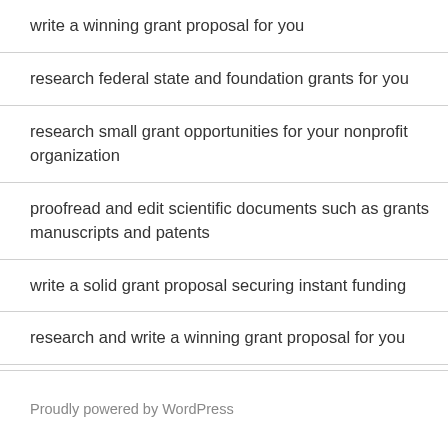write a winning grant proposal for you
research federal state and foundation grants for you
research small grant opportunities for your nonprofit organization
proofread and edit scientific documents such as grants manuscripts and patents
write a solid grant proposal securing instant funding
research and write a winning grant proposal for you
Proudly powered by WordPress